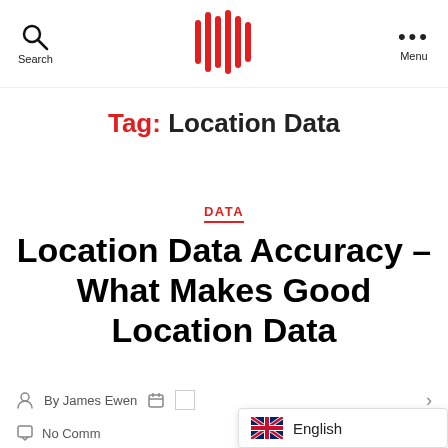Search | [Logo] | Menu
Tag: Location Data
DATA
Location Data Accuracy – What Makes Good Location Data
By James Ewen
No Comments